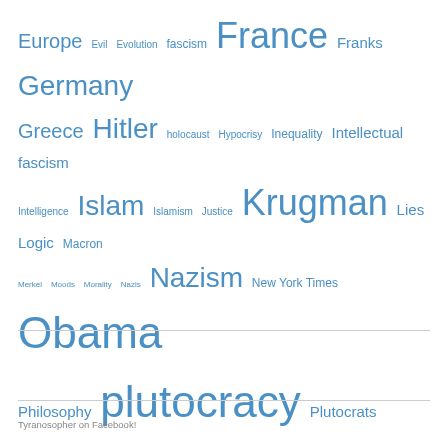[Figure (other): Word/tag cloud with various political, philosophical, and social topics displayed in different font sizes, all in blue color. Terms include: Europe, Evil, Evolution, fascism, France, Franks, Germany, Greece, Hitler, holocaust, Hypocrisy, Inequality, Intellectual fascism, Intelligence, Islam, Islamism, Justice, Krugman, Lies, Logic, Macron, Merkel, Moods, Morality, Nazis, Nazism, New York Times, Obama, Philosophy, plutocracy, Plutocrats, Progress, Putin, Quantum, Qur'an, racism, Rome, Russia, Science, slavery, superstition, Syria, Systems of Thought, Taxes, Technology, Trump, Truth, Ukraine, USA, Violence, war, Wisdom, WWII]
Tyranosopher on Facebook!